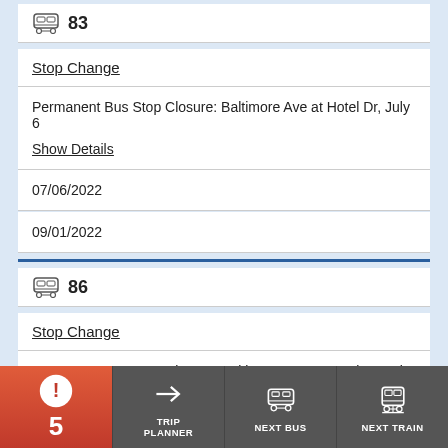83
Stop Change
Permanent Bus Stop Closure: Baltimore Ave at Hotel Dr, July 6
Show Details
07/06/2022
09/01/2022
86
Stop Change
Permanent Bus Stop Closure: Baltimore Ave at Hotel Dr, July 6
Show Details
07/06/2022
[Figure (infographic): Bottom navigation bar with alert count 5, Trip Planner, Next Bus, and Next Train buttons]